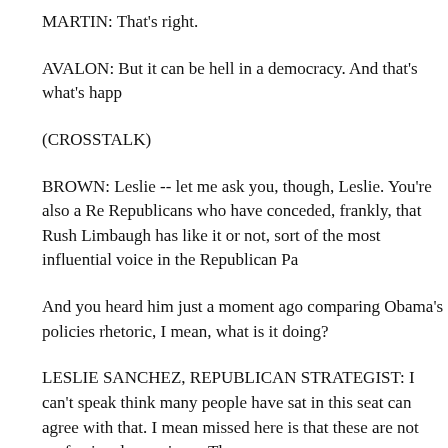MARTIN: That's right.
AVALON: But it can be hell in a democracy. And that's what's happ
(CROSSTALK)
BROWN: Leslie -- let me ask you, though, Leslie. You're also a Re Republicans who have conceded, frankly, that Rush Limbaugh has like it or not, sort of the most influential voice in the Republican Pa
And you heard him just a moment ago comparing Obama's policies rhetoric, I mean, what is it doing?
LESLIE SANCHEZ, REPUBLICAN STRATEGIST: I can't speak think many people have sat in this seat can agree with that. I mean missed here is that these are not professional organizers. These are